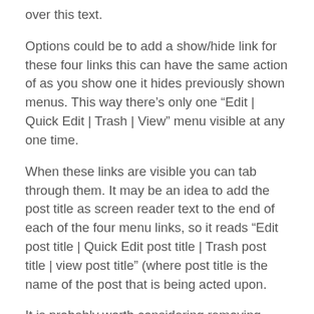over this text.
Options could be to add a show/hide link for these four links this can have the same action of as you show one it hides previously shown menus. This way there’s only one “Edit | Quick Edit | Trash | View” menu visible at any one time.
When these links are visible you can tab through them. It may be an idea to add the post title as screen reader text to the end of each of the four menu links, so it reads “Edit post title | Quick Edit post title | Trash post title | view post title” (where post title is the name of the post that is being acted upon.
It is probably worth considering removing either the “Edit |” link or the title edit link. As these are